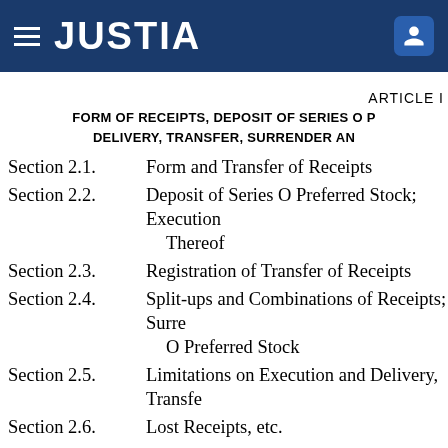JUSTIA
ARTICLE I
FORM OF RECEIPTS, DEPOSIT OF SERIES O P... DELIVERY, TRANSFER, SURRENDER AN...
Section 2.1.  Form and Transfer of Receipts
Section 2.2.  Deposit of Series O Preferred Stock; Execution... Thereof
Section 2.3.  Registration of Transfer of Receipts
Section 2.4.  Split-ups and Combinations of Receipts; Surre... O Preferred Stock
Section 2.5.  Limitations on Execution and Delivery, Transfe...
Section 2.6.  Lost Receipts, etc.
Section 2.7.  Cancellation and Destruction of Surrendered...
Section 2.8.  Redemption of Series O Preferred Stock
ARTICLE II
CERTAIN OBLIGA...